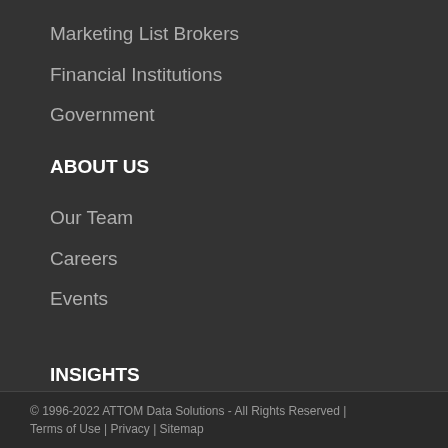Marketing List Brokers
Financial Institutions
Government
ABOUT US
Our Team
Careers
Events
INSIGHTS
CONTACT
© 1996-2022 ATTOM Data Solutions - All Rights Reserved | Terms of Use | Privacy | Sitemap